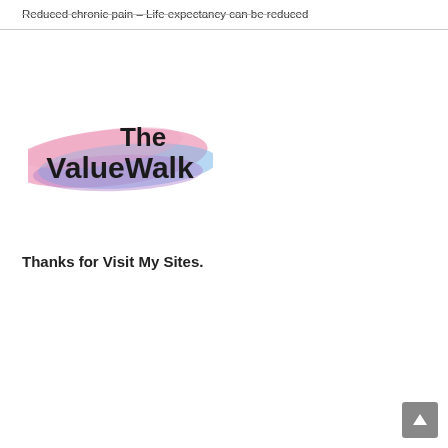Reduced chronic pain – Life expectancy can be reduced
[Figure (logo): The ValueWalk logo — bold sans-serif text reading 'The ValueWalk' with a colorful pink-blue-purple watercolor brushstroke background behind 'ValueWalk']
Thanks for Visit My Sites.